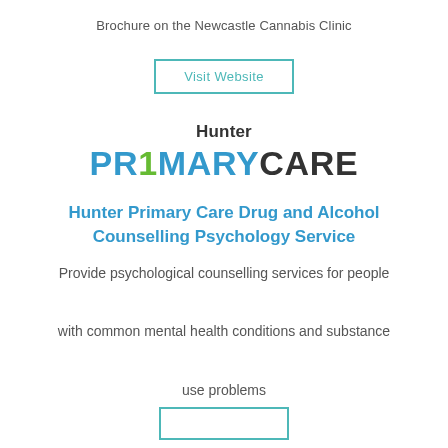Brochure on the Newcastle Cannabis Clinic
Visit Website
[Figure (logo): Hunter Primary Care logo with 'Hunter' in bold dark text above 'PRIMARY' in blue and 'CARE' in dark gray, with a green '1' in PRIMARYCARE]
Hunter Primary Care Drug and Alcohol Counselling Psychology Service
Provide psychological counselling services for people with common mental health conditions and substance use problems